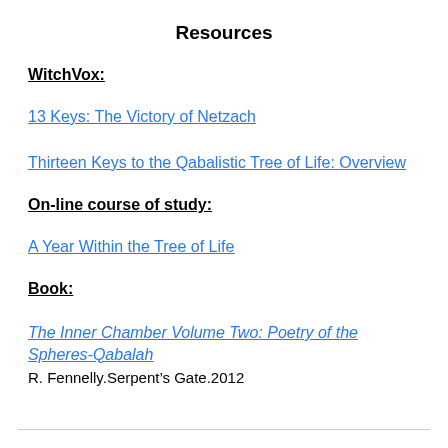Resources
WitchVox:
13 Keys: The Victory of Netzach
Thirteen Keys to the Qabalistic Tree of Life: Overview
On-line course of study:
A Year Within the Tree of Life
Book:
The Inner Chamber Volume Two: Poetry of the Spheres-Qabalah
R. Fennelly.Serpent’s Gate.2012